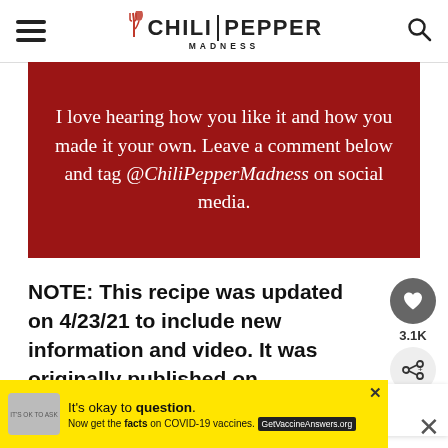CHILI PEPPER MADNESS
I love hearing how you like it and how you made it your own. Leave a comment below and tag @ChiliPepperMadness on social media.
NOTE: This recipe was updated on 4/23/21 to include new information and video. It was originally published on 10/12/20.
[Figure (screenshot): Ad banner: It's okay to question. Now get the facts on COVID-19 vaccines. GetVaccineAnswers.org]